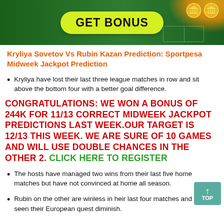[Figure (illustration): Green football/soccer field banner with 'GET BONUS' yellow pill button and gold coins in top right corner]
Kryliya Sovetov Vs Rubin Kazan Prediction: Sportpesa Midweek Jackpot Prediction
Kryliya have lost their last three league matches in row and sit above the bottom four with a better goal difference.
CONGRATULATIONS: WE WON A BONUS OF 244K FOR 11/13 CORRECT MIDWEEK JACKPOT PREDICTIONS LAST WEEK.OUR TARGET IS 12/13 THIS WEEK. WE ARE SURE OF 10 GAMES AND WILL USE DOUBLE CHANCES IN THE OTHER 2. CLICK HERE TO REGISTER
The hosts have managed two wins from their last five home matches but have not convinced at home all season.
Rubin on the other are winless in heir last four matches and this as seen their European quest diminish.